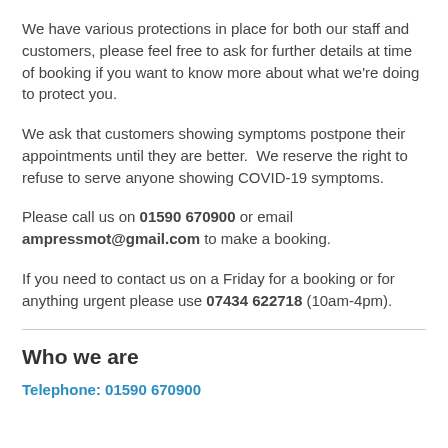We have various protections in place for both our staff and customers, please feel free to ask for further details at time of booking if you want to know more about what we're doing to protect you.
We ask that customers showing symptoms postpone their appointments until they are better.  We reserve the right to refuse to serve anyone showing COVID-19 symptoms.
Please call us on 01590 670900 or email ampressmot@gmail.com to make a booking.
If you need to contact us on a Friday for a booking or for anything urgent please use 07434 622718 (10am-4pm).
Who we are
Telephone: 01590 670900